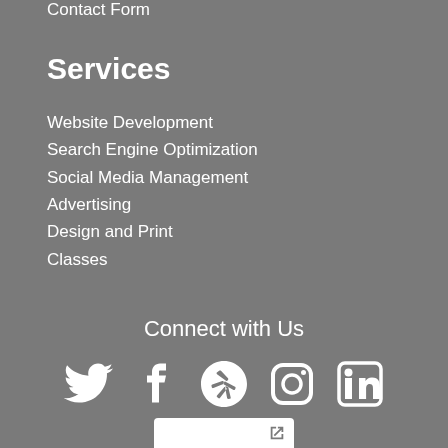Contact Form
Services
Website Development
Search Engine Optimization
Social Media Management
Advertising
Design and Print
Classes
Connect with Us
[Figure (infographic): Social media icons: Twitter, Facebook, Yelp, Instagram, LinkedIn — all white on grey background]